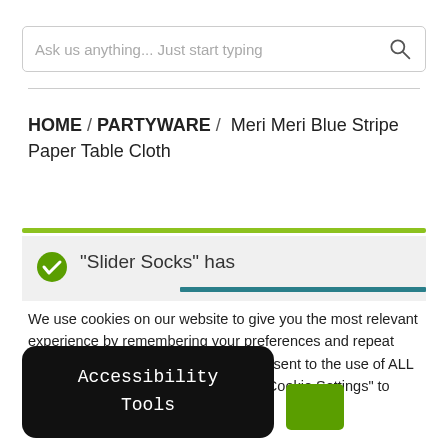Ask us anything... Just start typing
HOME / PARTYWARE / Meri Meri Blue Stripe Paper Table Cloth
“Slider Socks” has
We use cookies on our website to give you the most relevant experience by remembering your preferences and repeat visits. By clicking “Accept All”, you consent to the use of ALL the cookies. However, you may visit “Cookie Settings” to provide a controlled consent.
Accessibility Tools